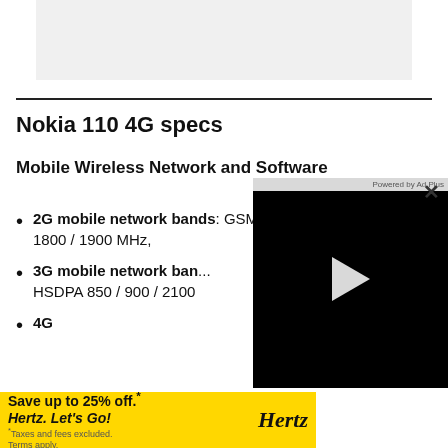[Figure (other): Gray placeholder image area at top of page]
Nokia 110 4G specs
Mobile Wireless Network and Software
2G mobile network bands: GSM, GPRS, EDGE 850 / 900 / 1800 / 1900 MHz,
3G mobile network bands: HSDPA 850 / 900 / 2100
4G ... 7, 8,